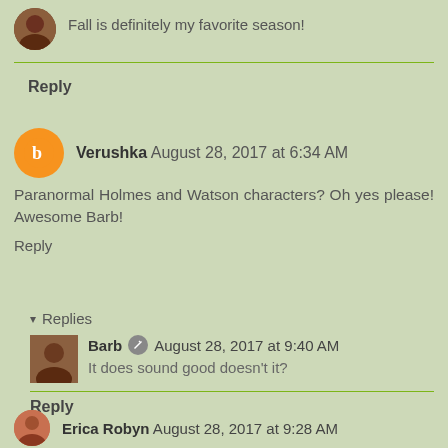Fall is definitely my favorite season!
Reply
Verushka August 28, 2017 at 6:34 AM
Paranormal Holmes and Watson characters? Oh yes please! Awesome Barb!
Reply
Replies
Barb August 28, 2017 at 9:40 AM
It does sound good doesn't it?
Reply
Erica Robyn August 28, 2017 at 9:28 AM